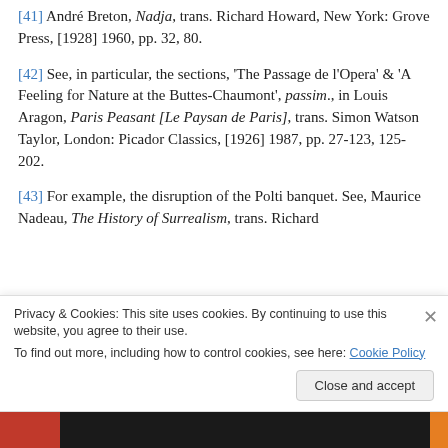[41] André Breton, Nadja, trans. Richard Howard, New York: Grove Press, [1928] 1960, pp. 32, 80.
[42] See, in particular, the sections, 'The Passage de l'Opera' & 'A Feeling for Nature at the Buttes-Chaumont', passim., in Louis Aragon, Paris Peasant [Le Paysan de Paris], trans. Simon Watson Taylor, London: Picador Classics, [1926] 1987, pp. 27-123, 125-202.
[43] For example, the disruption of the Polti banquet. See, Maurice Nadeau, The History of Surrealism, trans. Richard
Privacy & Cookies: This site uses cookies. By continuing to use this website, you agree to their use.
To find out more, including how to control cookies, see here: Cookie Policy